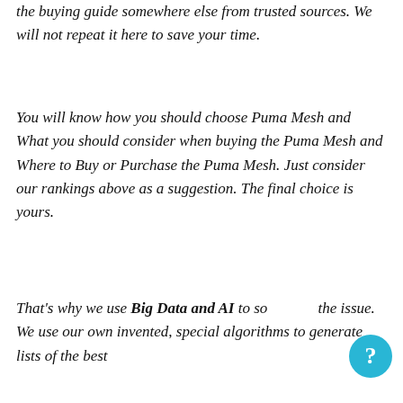the buying guide somewhere else from trusted sources. We will not repeat it here to save your time.
You will know how you should choose Puma Mesh and What you should consider when buying the Puma Mesh and Where to Buy or Purchase the Puma Mesh. Just consider our rankings above as a suggestion. The final choice is yours.
That's why we use Big Data and AI to solve the issue. We use our own invented, special algorithms to generate lists of the best